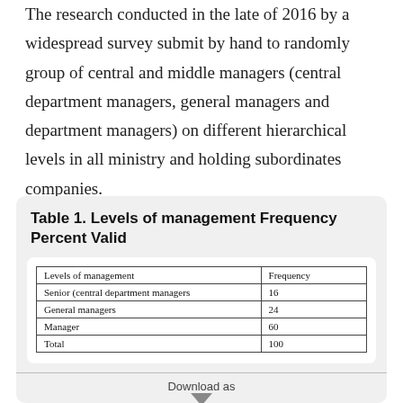The research conducted in the late of 2016 by a widespread survey submit by hand to randomly group of central and middle managers (central department managers, general managers and department managers) on different hierarchical levels in all ministry and holding subordinates companies.
Table 1. Levels of management Frequency Percent Valid
| Levels of management | Frequency |
| --- | --- |
| Senior (central department managers | 16 |
| General managers | 24 |
| Manager | 60 |
| Total | 100 |
Download as